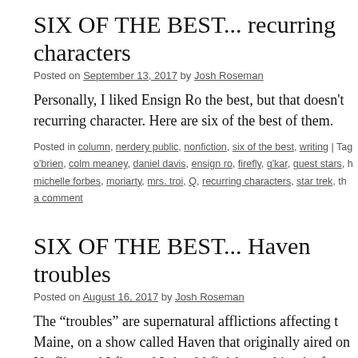SIX OF THE BEST... recurring characters
Posted on September 13, 2017 by Josh Roseman
Personally, I liked Ensign Ro the best, but that doesn't recurring character. Here are six of the best of them.
Posted in column, nerdery public, nonfiction, six of the best, writing | Tag o'brien, colm meaney, daniel davis, ensign ro, firefly, g'kar, guest stars, h michelle forbes, moriarty, mrs. troi, Q, recurring characters, star trek, th a comment
SIX OF THE BEST... Haven troubles
Posted on August 16, 2017 by Josh Roseman
The “troubles” are supernatural afflictions affecting t Maine, on a show called Haven that originally aired on Netflix, and I figured I should finish watching it after c seasons … Continue reading →
Posted in column, nerdery public, nonfiction, six of the best, writing | Tag